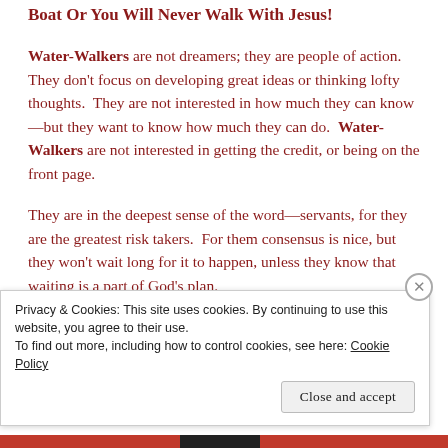Boat Or You Will Never Walk With Jesus!
Water-Walkers are not dreamers; they are people of action.  They don't focus on developing great ideas or thinking lofty thoughts.  They are not interested in how much they can know—but they want to know how much they can do.  Water-Walkers are not interested in getting the credit, or being on the front page.
They are in the deepest sense of the word—servants, for they are the greatest risk takers.  For them consensus is nice, but they won't wait long for it to happen, unless they know that waiting is a part of God's plan.
Privacy & Cookies: This site uses cookies. By continuing to use this website, you agree to their use.
To find out more, including how to control cookies, see here: Cookie Policy
Close and accept